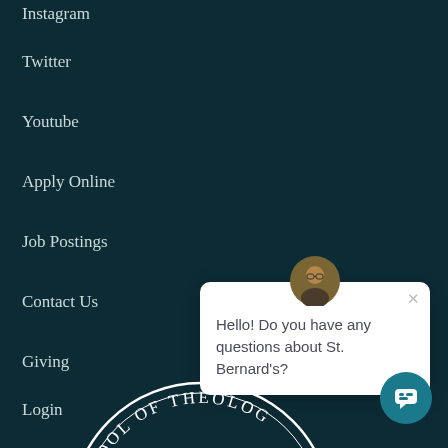Instagram
Twitter
Youtube
Apply Online
Job Postings
Contact Us
Giving
Login
Hello! Do you have any questions about St. Bernard's?
[Figure (logo): St. Bernard's School of Theology seal/logo, partial view at bottom of page, white text on dark background]